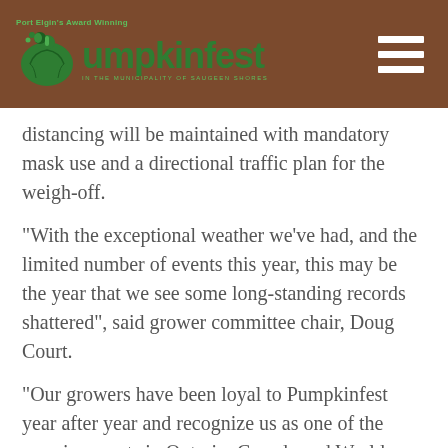Port Elgin's Award Winning Pumpkinfest
distancing will be maintained with mandatory mask use and a directional traffic plan for the weigh-off.
“With the exceptional weather we’ve had, and the limited number of events this year, this may be the year that we see some long-standing records shattered”, said grower committee chair, Doug Court.
“Our growers have been loyal to Pumpkinfest year after year and recognize us as one of the premier events in Ontario, Canada and World-Wide, so we wanted to ensure that we could provide a safe venue for our growers to showcase their prize-winning entries in 2020 when many other events have been cancelled.”